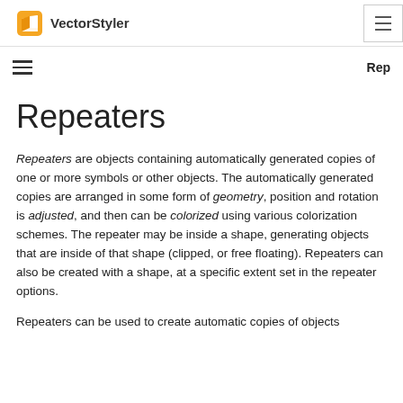VectorStyler
Rep
Repeaters
Repeaters are objects containing automatically generated copies of one or more symbols or other objects. The automatically generated copies are arranged in some form of geometry, position and rotation is adjusted, and then can be colorized using various colorization schemes. The repeater may be inside a shape, generating objects that are inside of that shape (clipped, or free floating). Repeaters can also be created with a shape, at a specific extent set in the repeater options.
Repeaters can be used to create automatic copies of objects